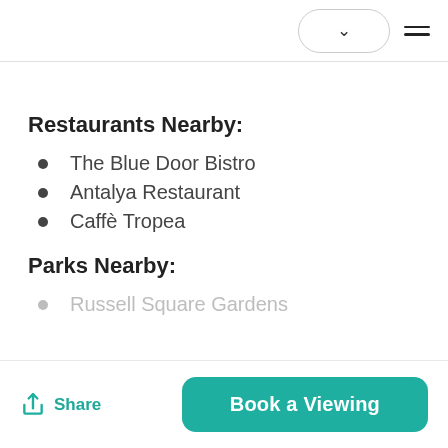Restaurants Nearby:
The Blue Door Bistro
Antalya Restaurant
Caffè Tropea
Parks Nearby:
Russell Square Gardens
Share | Book a Viewing